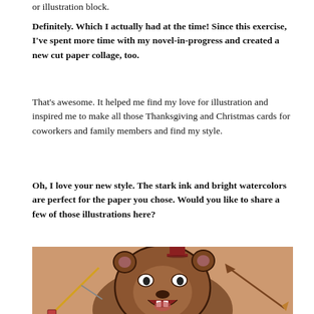or illustration block.
Definitely. Which I actually had at the time! Since this exercise, I've spent more time with my novel-in-progress and created a new cut paper collage, too.
That's awesome. It helped me find my love for illustration and inspired me to make all those Thanksgiving and Christmas cards for coworkers and family members and find my style.
Oh, I love your new style. The stark ink and bright watercolors are perfect for the paper you chose. Would you like to share a few of those illustrations here?
[Figure (illustration): Illustration of a bear with a small hat on its head, open mouth showing teeth, on a tan/brown textured paper background. A sword or arrow is visible on the left and right sides.]